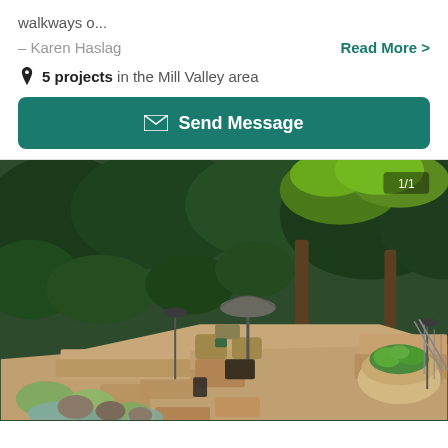walkways o...
– Karen Haslag
Read More >
5 projects in the Mill Valley area
Send Message
[Figure (photo): Aerial view of an outdoor garden patio with seating area, umbrella, stepping stones, ornamental grasses, boulders, planter bowl with succulents, pathway lights, and lush green trees in the background. Label '1/1' in upper right corner.]